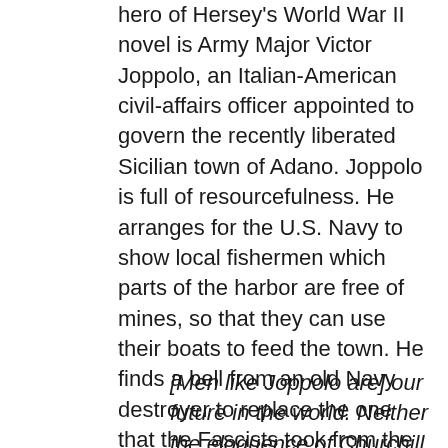hero of Hersey's World War II novel is Army Major Victor Joppolo, an Italian-American civil-affairs officer appointed to govern the recently liberated Sicilian town of Adano. Joppolo is full of resourcefulness. He arranges for the U.S. Navy to show local fishermen which parts of the harbor are free of mines, so that they can use their boats to feed the town. He finds a bell from an old Navy destroyer to replace the one that the Fascists took from the local church and melted down for bullets. He countermands his own general's order outlawing the use of horse-drawn carts, which the town needs to transport food and water. He goes to the back of a line to buy bread, to show Adano's citizens that although he is in charge, he is their servant, not their master. He is the first ruler in the town's history who doesn't represent a brute force of nature. In Hersey's words,
[Men like Joppolo are] our future in the world. Neither the eloquence of Churchill nor the humanness of